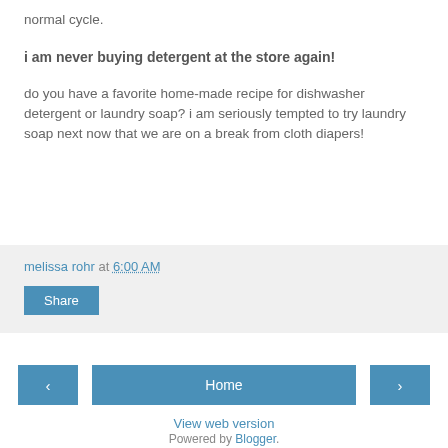normal cycle.
i am never buying detergent at the store again!
do you have a favorite home-made recipe for dishwasher detergent or laundry soap? i am seriously tempted to try laundry soap next now that we are on a break from cloth diapers!
melissa rohr at 6:00 AM
Share
< Home >
View web version
Powered by Blogger.